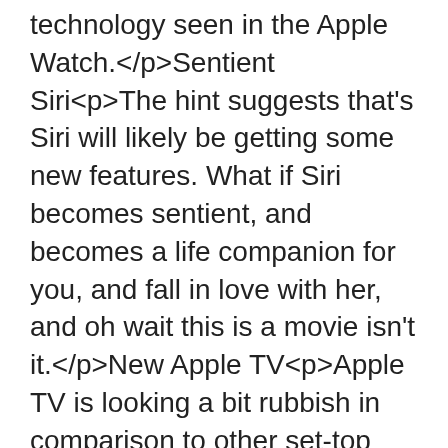technology seen in the Apple Watch.</p>Sentient Siri<p>The hint suggests that's Siri will likely be getting some new features. What if Siri becomes sentient, and becomes a life companion for you, and fall in love with her, and oh wait this is a movie isn't it.</p>New Apple TV<p>Apple TV is looking a bit rubbish in comparison to other set-top boxes like Amazon's Fire Stick. The new Apple TV is rumoured to have an actual App Store so you can download apps and games for use on your telly.</p><p>The improved box would also have more storage space, a redesigned look, and a touch-based remote control.</p>Some Boring Shit No One Cares About<p>Apple events always start with Some Boring Shit No One Cares About like a film about a new Apple Store...